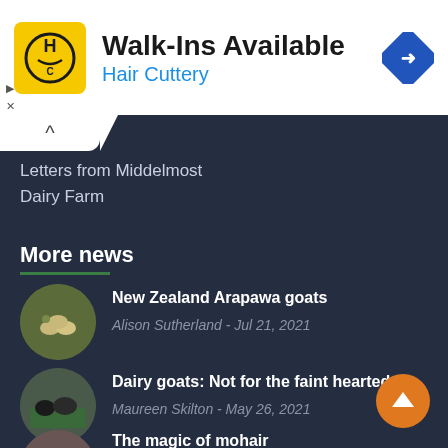[Figure (infographic): Hair Cuttery advertisement banner with HC logo, 'Walk-Ins Available' headline, 'Hair Cuttery' subtitle in blue, and a blue navigation arrow icon on the right.]
Letters from Middelmost Dairy Farm
More news
New Zealand Arapawa goats — Alison Sutherland - Jul 21, 2021
Dairy goats: Not for the faint hearted — Maureen Skilton - May 26, 2021
The magic of mohair